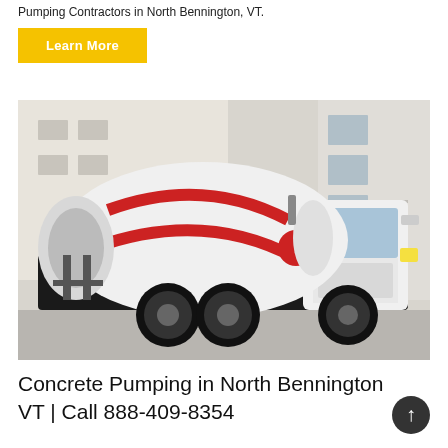Pumping Contractors in North Bennington, VT.
Learn More
[Figure (photo): A white concrete mixer truck with red stripes and a red ball accent, parked in front of a building. The truck has large black tires and a rotating drum mixer.]
Concrete Pumping in North Bennington VT | Call 888-409-8354